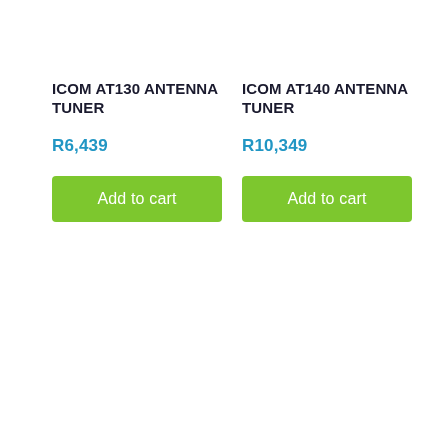ICOM AT130 ANTENNA TUNER
R6,439
ICOM AT140 ANTENNA TUNER
R10,349